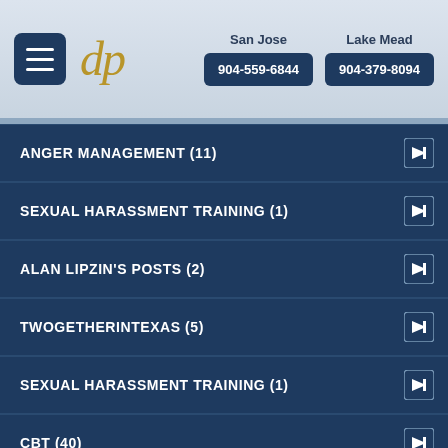[Figure (logo): dp logo in gold/tan color with hamburger menu button and two phone contact columns for San Jose and Lake Mead]
ANGER MANAGEMENT (11)
SEXUAL HARASSMENT TRAINING (1)
ALAN LIPZIN'S POSTS (2)
TWOGETHERINTEXAS (5)
SEXUAL HARASSMENT TRAINING (1)
CBT (40)
G LICENSE PSYCHOLOGICAL TESTING (2)